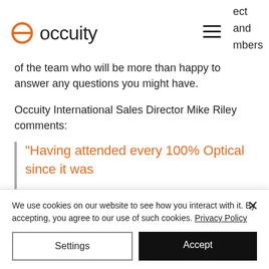occuity — [logo] — hamburger menu — ect and mbers
of the team who will be more than happy to answer any questions you might have.
Occuity International Sales Director Mike Riley comments:
“Having attended every 100% Optical since it was
We use cookies on our website to see how you interact with it. By accepting, you agree to our use of such cookies. Privacy Policy